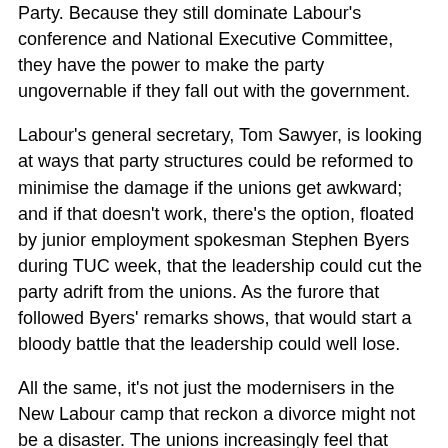Party. Because they still dominate Labour's conference and National Executive Committee, they have the power to make the party ungovernable if they fall out with the government.
Labour's general secretary, Tom Sawyer, is looking at ways that party structures could be reformed to minimise the damage if the unions get awkward; and if that doesn't work, there's the option, floated by junior employment spokesman Stephen Byers during TUC week, that the leadership could cut the party adrift from the unions. As the furore that followed Byers' remarks shows, that would start a bloody battle that the leadership could well lose.
All the same, it's not just the modernisers in the New Labour camp that reckon a divorce might not be a disaster. The unions increasingly feel that money they spend on Labour could be better used. Few union leaders are likely to join Arthur Scargill's Socialist Labour Party, but the TGWU, MSF and Unison – at very least – are already thinking seriously about life without. Using all their political funds on their own campaigning is looking more and more attractive.